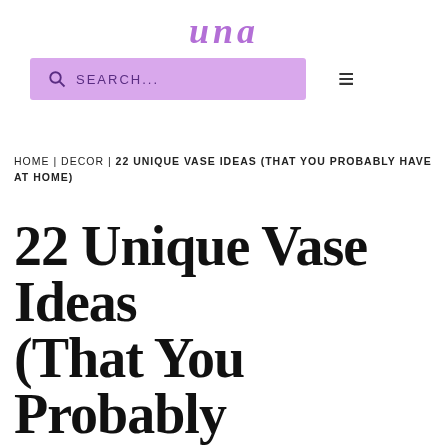una
[Figure (other): Search bar with purple/lavender background and hamburger menu icon]
HOME | DECOR | 22 UNIQUE VASE IDEAS (THAT YOU PROBABLY HAVE AT HOME)
22 Unique Vase Ideas (That You Probably